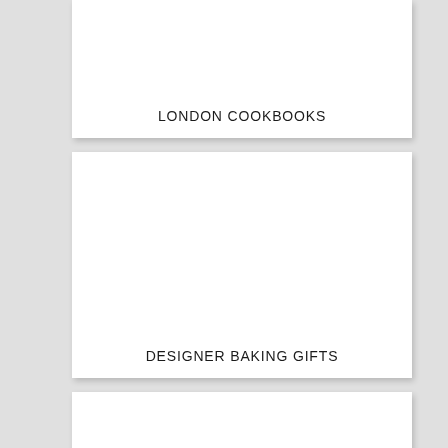LONDON COOKBOOKS
DESIGNER BAKING GIFTS
GREAT BRITISH BAKE OFF GIFTS